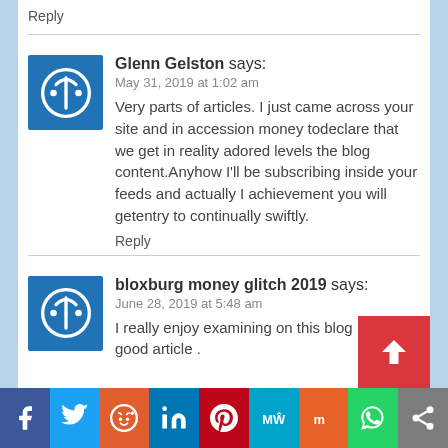Reply
Glenn Gelston says:
May 31, 2019 at 1:02 am
Very parts of articles. I just came across your site and in accession money todeclare that we get in reality adored levels the blog content.Anyhow I'll be subscribing inside your feeds and actually I achievement you will getentry to continually swiftly.
Reply
bloxburg money glitch 2019 says:
June 28, 2019 at 5:48 am
I really enjoy examining on this blog , it ha good article .
[Figure (screenshot): Social sharing bar at bottom with icons: Facebook, Twitter, Reddit, LinkedIn, Pinterest, MeWe, Mix, WhatsApp, Share]